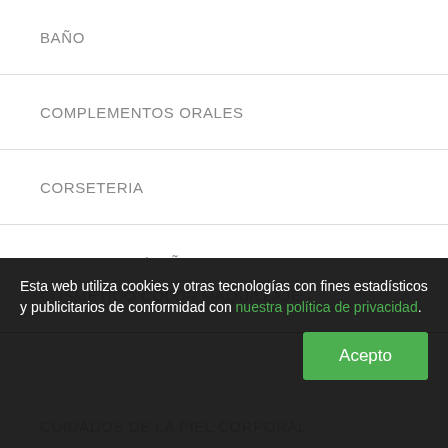BAÑO
COMPLEMENTOS ORALES
CORSETERIA
CORSETERIA/BAÑO
COSMETICO COLOR MAQUILLAJE
CUIDADOS DE LA PIEL CORPORAL
CUIDADOS DE LA PIEL FACIAL
Esta web utiliza cookies y otras tecnologías con fines estadísticos y publicitarios de conformidad con nuestra política de privacidad.
Acepto